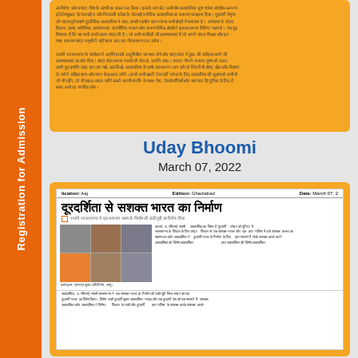Registration for Admission
[Hindi text content - top card]
Uday Bhoomi
March 07, 2022
[Figure (photo): Newspaper clipping from Uday Bhoomi, Ghaziabad edition, March 07, 2022, showing Hindi article titled 'दूरदर्शिता से सशक्त भारत का निर्माण' with a grid of six video conference participant photos and Hindi article text.]